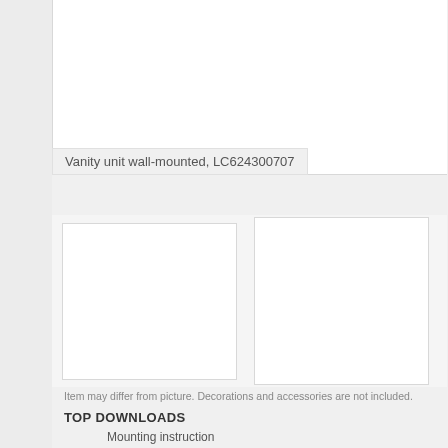[Figure (photo): Top image area showing product photo placeholder (white box), partially cropped at top of page]
Vanity unit wall-mounted, LC624300707
[Figure (photo): Left bottom product image placeholder (white box)]
[Figure (photo): Right bottom product image placeholder (white box)]
Item may differ from picture. Decorations and accessories are not included.
TOP DOWNLOADS
Mounting instruction
Product images (TIFF)